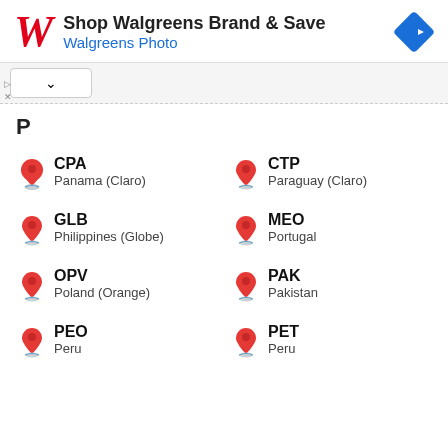[Figure (screenshot): Walgreens ad banner: red cursive W logo, text 'Shop Walgreens Brand & Save' and 'Walgreens Photo' in blue, blue diamond arrow icon on right]
P
CPA
Panama (Claro)
CTP
Paraguay (Claro)
GLB
Philippines (Globe)
MEO
Portugal
OPV
Poland (Orange)
PAK
Pakistan
PEO
Peru
PET
Peru